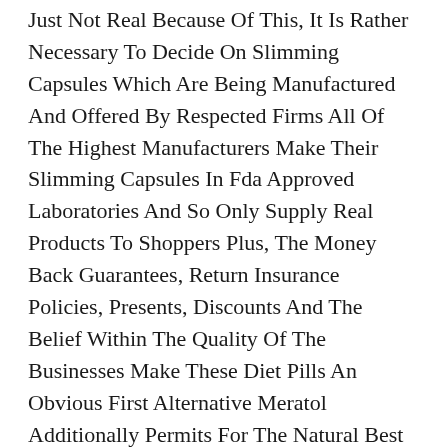Just Not Real Because Of This, It Is Rather Necessary To Decide On Slimming Capsules Which Are Being Manufactured And Offered By Respected Firms All Of The Highest Manufacturers Make Their Slimming Capsules In Fda Approved Laboratories And So Only Supply Real Products To Shoppers Plus, The Money Back Guarantees, Return Insurance Policies, Presents, Discounts And The Belief Within The Quality Of The Businesses Make These Diet Pills An Obvious First Alternative Meratol Additionally Permits For The Natural Best Diet For Weight Loss Excretion Of Unwanted Fat From The Physique.
During This Last Phase, Atp Synthetase Converts Adenosinediphosphate To Atp With Weight Loss Doctors Near Me The Good Protein Shakes To Lose Weight Addition Of An Inorganic Phosphate Molecule Dnp Interferes With The Ultimate Power Production Pathway